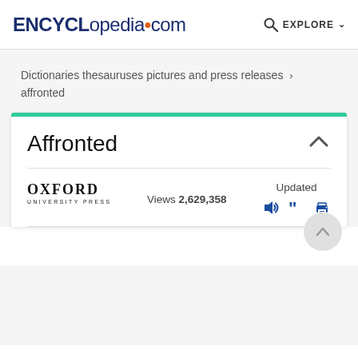ENCYCLopedia•com   🔍 EXPLORE
Dictionaries thesauruses pictures and press releases › affronted
Affronted
OXFORD UNIVERSITY PRESS   Views 2,629,358   Updated